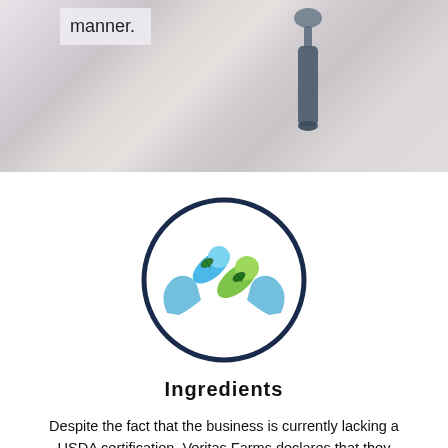[Figure (photo): Partial view of a dropper bottle on a marble surface with text overlay reading 'manner.']
[Figure (illustration): Circular icon with dark navy border showing two hands cradling blue and green capsules/pills with cannabis leaf designs on them]
Ingredients
Despite the fact that the business is currently lacking a USDA certification, Veritas Farms declares that they employ only non-GMO components and organic products wherever it is feasible to do so.